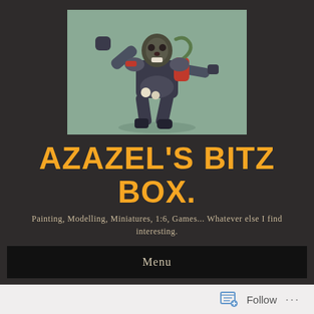[Figure (photo): A painted Warhammer-style miniature figure with chaotic features, holding a weapon, against a muted green-grey background]
AZAZEL'S BITZ BOX.
Painting, Modelling, Miniatures, 1:6, Games... Whatever else I find interesting.
Menu
Realm of Chaos – The Death Guard #1: Poxwalkers #1–3 (Zomtober '19) (Contrast Paint Experiment #12)
Follow ...